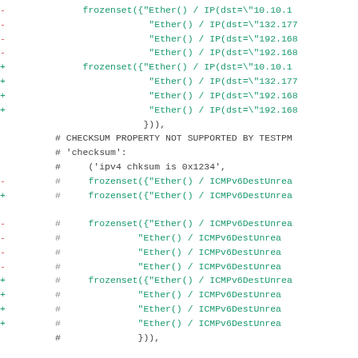Code diff showing frozenset and ICMPv6DestUnreachable lines, checksum property comment, and FlowItemIpv6 hunk header
[Figure (screenshot): A git diff or code review snippet showing removed lines (red minus), added lines (green plus), and comment lines (gray hash) in a monospace font on white background. Content includes frozenset entries with Ether()/IP(dst=...) strings, CHECKSUM PROPERTY NOT SUPPORTED comment, ICMPv6DestUnreachable entries, a hunk header for class FlowItemIpv6(PatternFlo, and vtc_flow lines.]